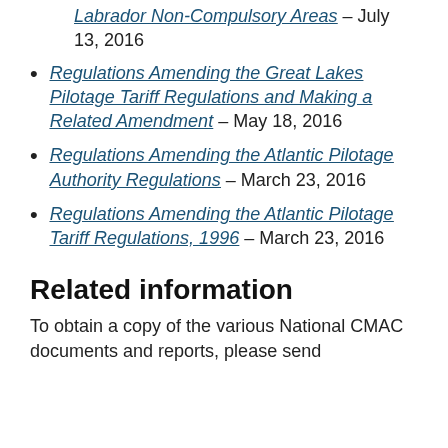Labrador Non-Compulsory Areas – July 13, 2016
Regulations Amending the Great Lakes Pilotage Tariff Regulations and Making a Related Amendment – May 18, 2016
Regulations Amending the Atlantic Pilotage Authority Regulations – March 23, 2016
Regulations Amending the Atlantic Pilotage Tariff Regulations, 1996 – March 23, 2016
Related information
To obtain a copy of the various National CMAC documents and reports, please send